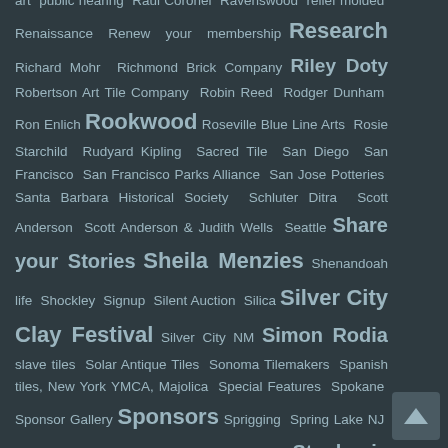art public hearing Raul Coronel Ravenswood relief molded Renaissance Renew your membership Research Richard Mohr Richmond Brick Company Riley Doty Robertson Art Tile Company Robin Reed Rodger Dunham Ron Enlich Rookwood Roseville Blue Line Arts Rosie Starchild Rudyard Kipling Sacred Tile San Diego San Francisco San Francisco Parks Alliance San Jose Potteries Santa Barbara Historical Society Schluter Ditra Scott Anderson Scott Anderson & Judith Wells Seattle Share your Stories Sheila Menzies Shenandoah life Shockley Signup Silent Auction Silica Silver City Clay Festival Silver City NM Simon Rodia slave tiles Solar Antique Tiles Sonoma Tilemakers Spanish tiles, New York YMCA, Majolica Special Features Spokane Sponsor Gallery Sponsors Sprigging Spring Lake NJ St Petersburg - FL St. Petersburg YMCA Stephanie Osser Stephanie Osser Steps